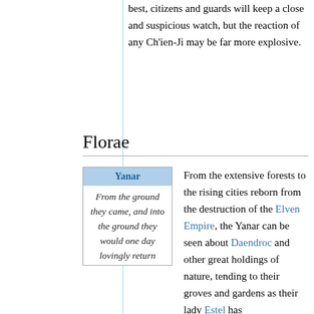best, citizens and guards will keep a close and suspicious watch, but the reaction of any Ch'ien-Ji may be far more explosive.
Florae
| Yanar |
| --- |
| From the ground they came, and into the ground they would one day lovingly return |
From the extensive forests to the rising cities reborn from the destruction of the Elven Empire, the Yanar can be seen about Daendroc and other great holdings of nature, tending to their groves and gardens as their lady Estel has